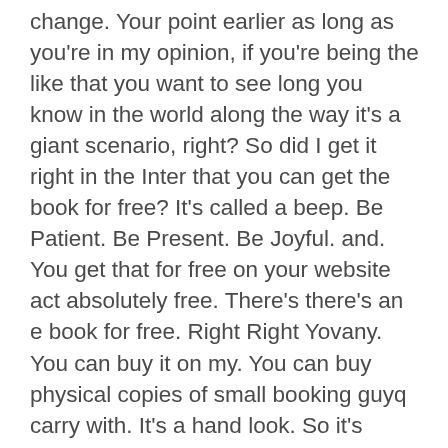change. Your point earlier as long as you're in my opinion, if you're being the like that you want to see long you know in the world along the way it's a giant scenario, right? So did I get it right in the Inter that you can get the book for free? It's called a beep. Be Patient. Be Present. Be Joyful. and. You get that for free on your website act absolutely free. There's there's an e book for free. Right Right Yovany. You can buy it on my. You can buy physical copies of small booking guyq carry with. It's a hand look. So it's called a a a first aid kit for the emotional bumps, scrapes and bruises of life or. Death what the first eight simple I was GonNa ask you what? What's that simple? So I'm not like a huge reader like I. Love Personal Growth. Love self-development. But you